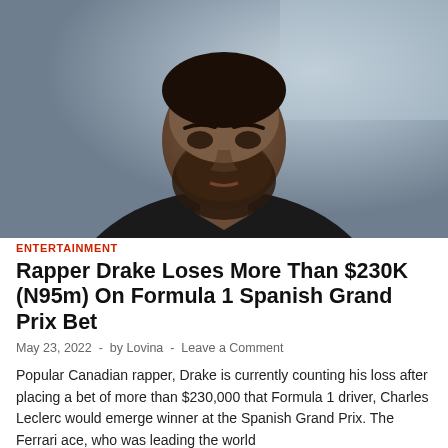[Figure (photo): Portrait photo of rapper Drake wearing a dark suit jacket over a grey turtleneck with a pearl/diamond necklace, standing against a textured grey-blue background]
ENTERTAINMENT
Rapper Drake Loses More Than $230K (N95m) On Formula 1 Spanish Grand Prix Bet
May 23, 2022 - by Lovina - Leave a Comment
Popular Canadian rapper, Drake is currently counting his loss after placing a bet of more than $230,000 that Formula 1 driver, Charles Leclerc would emerge winner at the Spanish Grand Prix. The Ferrari ace, who was leading the world